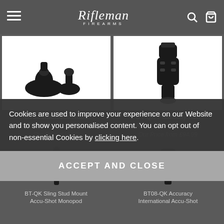Rifleman Firearms — navigation header with menu, logo, search, cart
[Figure (photo): BT32 Standard Atlas Bipod Rubber Feet product photo — two black rubber feet pieces on white background]
BT32 Standard Atlas Bipod Rubber Feet
Our Price £19.99
[Figure (photo): BT-QK Picatinny Rail Accu-Shot Monopod product photo — black tactical monopod grip on white background]
BT-QK Picatinny Rail Accu-Shot Monopod
Our Price from £94.99
Cookies are used to improve your experience on our Website and to show you personalised content. You can opt out of non-essential Cookies by clicking here.
ACCEPT AND CLOSE
BT-QK Sling Stud Mount Accu-Shot Monopod
BT08-QK Accuracy International Accu-Shot Monopod